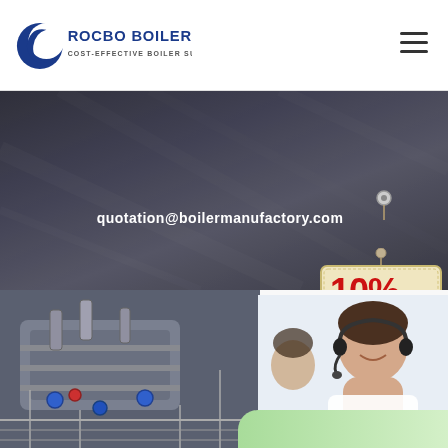[Figure (logo): Rocbo Boiler logo with blue crescent C graphic and text ROCBO BOILER / COST-EFFECTIVE BOILER SUPPLIER]
[Figure (illustration): Hamburger menu icon (three horizontal lines) in top right corner]
[Figure (photo): Dark industrial background banner with diagonal pipes/walls, showing email address quotation@boilermanufactory.com in white bold text, with a decorative pulley/ball element]
quotation@boilermanufactory.com
[Figure (illustration): 10% DISCOUNT badge/sign hanging from a pulley on a rope, with red 10% and teal DISCOUNT text on a beige background]
high efficiency gas
[Figure (photo): Industrial gas boiler equipment showing pipes, valves, and blue fittings in a factory setting]
[Figure (photo): Customer service representative woman wearing headset smiling, with another person in background]
7X24 Online